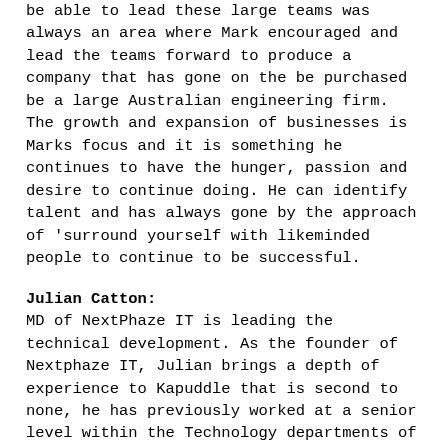be able to lead these large teams was always an area where Mark encouraged and lead the teams forward to produce a company that has gone on the be purchased be a large Australian engineering firm. The growth and expansion of businesses is Marks focus and it is something he continues to have the hunger, passion and desire to continue doing. He can identify talent and has always gone by the approach of 'surround yourself with likeminded people to continue to be successful.
Julian Catton:
MD of NextPhaze IT is leading the technical development. As the founder of Nextphaze IT, Julian brings a depth of experience to Kapuddle that is second to none, he has previously worked at a senior level within the Technology departments of some of the world's largest companies including IBM, Barclays Capital, Morgan Stanley, Nestle and Bankwest. He has acquired a very broad experience across a range of IT sectors including; applications, servers, storage, networking, virtualisation, data centre operations, disaster recovery, app development and web and cloud services.